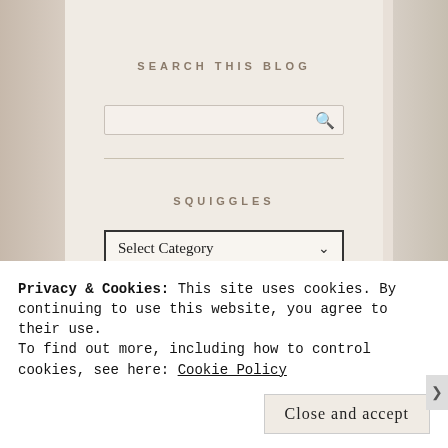SEARCH THIS BLOG
[Figure (screenshot): Search input box with magnifying glass icon]
SQUIGGLES
[Figure (screenshot): Select Category dropdown widget]
ARCHIVES
Privacy & Cookies: This site uses cookies. By continuing to use this website, you agree to their use.
To find out more, including how to control cookies, see here: Cookie Policy
Close and accept